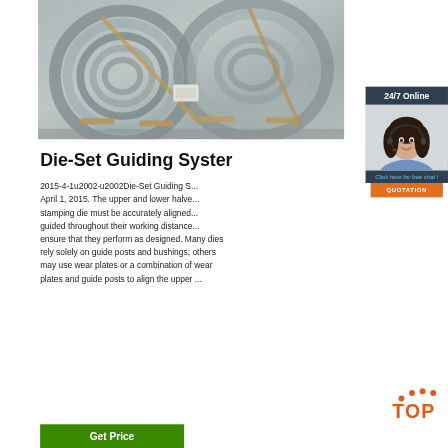[Figure (photo): Photograph of large coils of wire rod or steel wire stacked in an industrial warehouse setting]
[Figure (photo): 24/7 online customer service agent — woman with headset smiling; includes 'Click here for free chat!' text and orange QUOTATION button]
Die-Set Guiding System
2015-4-1u2002·u2002Die-Set Guiding S... April 1, 2015. The upper and lower halves of a stamping die must be accurately aligned and guided throughout their working distance to ensure that they perform as designed. Many dies rely solely on guide posts and bushings; others may use wear plates or a combination of wear plates and guide posts to align the upper ...
[Figure (logo): Orange and dark red 'TOP' logo with dots above forming a triangle/arc]
Get Price